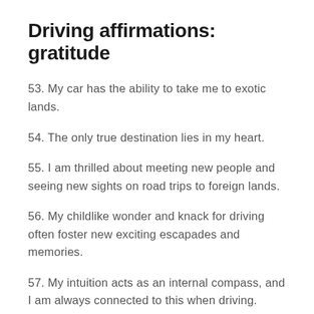Driving affirmations: gratitude
53. My car has the ability to take me to exotic lands.
54. The only true destination lies in my heart.
55. I am thrilled about meeting new people and seeing new sights on road trips to foreign lands.
56. My childlike wonder and knack for driving often foster new exciting escapades and memories.
57. My intuition acts as an internal compass, and I am always connected to this when driving.
58. I have the pleasure of meeting new and kind